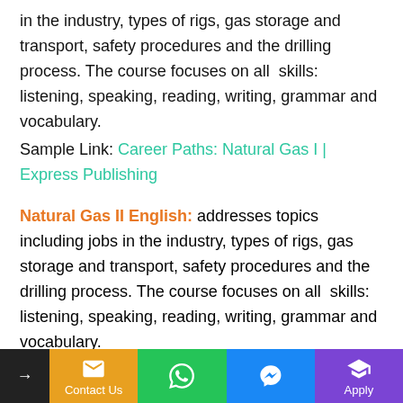in the industry, types of rigs, gas storage and transport, safety procedures and the drilling process. The course focuses on all  skills: listening, speaking, reading, writing, grammar and vocabulary.
Sample Link: Career Paths: Natural Gas I | Express Publishing
Natural Gas II English: addresses topics including jobs in the industry, types of rigs, gas storage and transport, safety procedures and the drilling process. The course focuses on all  skills: listening, speaking, reading, writing, grammar and vocabulary.
Sample Link: Career Paths: Natural Gas II | Express
→  Contact Us  [WhatsApp]  [Messenger]  Apply